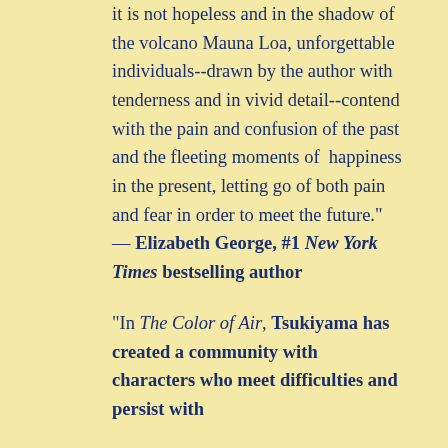it is not hopeless and in the shadow of the volcano Mauna Loa, unforgettable individuals--drawn by the author with tenderness and in vivid detail--contend with the pain and confusion of the past and the fleeting moments of happiness in the present, letting go of both pain and fear in order to meet the future." — Elizabeth George, #1 New York Times bestselling author

"In The Color of Air, Tsukiyama has created a community with characters who meet difficulties and persist with